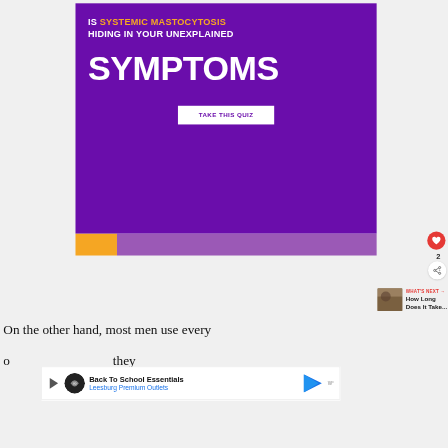[Figure (infographic): Purple advertisement banner for Systemic Mastocytosis quiz. White bold text reads 'IS SYSTEMIC MASTOCYTOSIS HIDING IN YOUR UNEXPLAINED' with SYSTEMIC MASTOCYTOSIS in orange. Large white bold text 'SYMPTOMS'. White button 'TAKE THIS QUIZ'. Orange and purple footer bar.]
[Figure (infographic): Red circular heart/like button with heart icon. Below it the number 2. Below that a white circular share button with share icon.]
[Figure (infographic): What's Next navigation element with thumbnail image and text 'WHAT'S NEXT → How Long Does It Take...']
On the other hand, most men use every
[Figure (infographic): Bottom advertisement overlay: 'Back To School Essentials — Leesburg Premium Outlets' with navigation arrow icon and logo.]